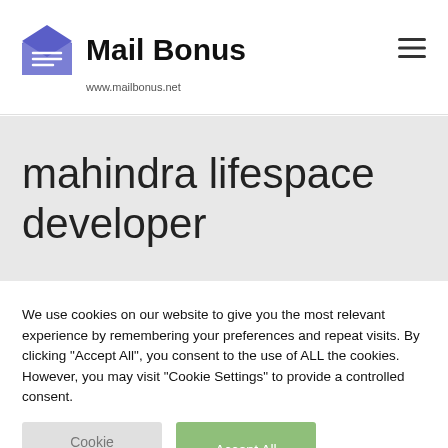[Figure (logo): Mail Bonus logo with envelope icon and brand name 'Mail Bonus' and URL www.mailbonus.net]
mahindra lifespace developer
We use cookies on our website to give you the most relevant experience by remembering your preferences and repeat visits. By clicking "Accept All", you consent to the use of ALL the cookies. However, you may visit "Cookie Settings" to provide a controlled consent.